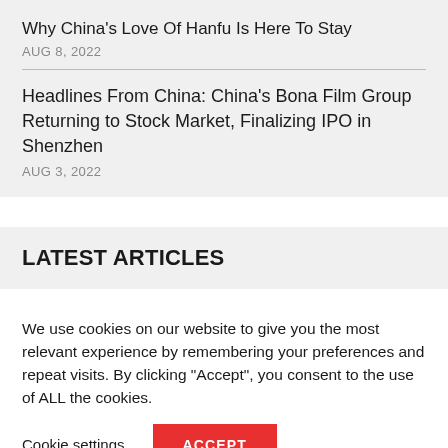Why China's Love Of Hanfu Is Here To Stay
AUG 8, 2022
Headlines From China: China's Bona Film Group Returning to Stock Market, Finalizing IPO in Shenzhen
AUG 3, 2022
LATEST ARTICLES
We use cookies on our website to give you the most relevant experience by remembering your preferences and repeat visits. By clicking “Accept”, you consent to the use of ALL the cookies.
Cookie settings
ACCEPT